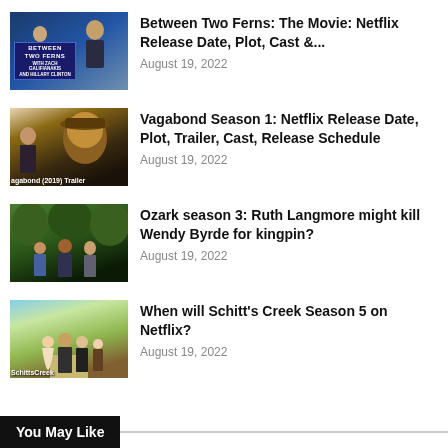Between Two Ferns: The Movie: Netflix Release Date, Plot, Cast &...
August 19, 2022
Vagabond Season 1: Netflix Release Date, Plot, Trailer, Cast, Release Schedule
August 19, 2022
Ozark season 3: Ruth Langmore might kill Wendy Byrde for kingpin?
August 19, 2022
When will Schitt's Creek Season 5 on Netflix?
August 19, 2022
You May Like